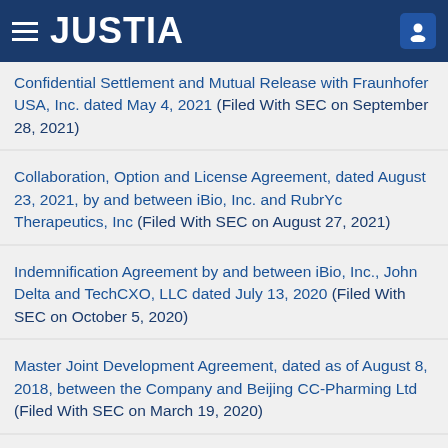JUSTIA
Confidential Settlement and Mutual Release with Fraunhofer USA, Inc. dated May 4, 2021 (Filed With SEC on September 28, 2021)
Collaboration, Option and License Agreement, dated August 23, 2021, by and between iBio, Inc. and RubrYc Therapeutics, Inc (Filed With SEC on August 27, 2021)
Indemnification Agreement by and between iBio, Inc., John Delta and TechCXO, LLC dated July 13, 2020 (Filed With SEC on October 5, 2020)
Master Joint Development Agreement, dated as of August 8, 2018, between the Company and Beijing CC-Pharming Ltd (Filed With SEC on March 19, 2020)
Collaboration and License Agreement, dated August 23,